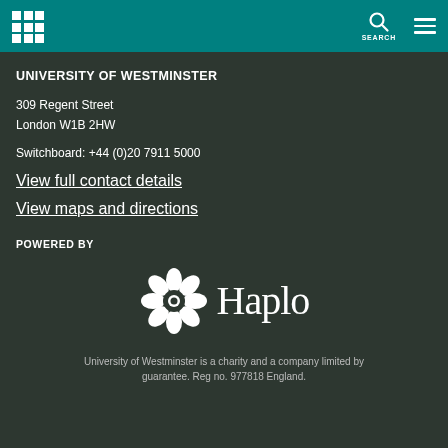University of Westminster — site header with logo, search, and menu
UNIVERSITY OF WESTMINSTER
309 Regent Street
London W1B 2HW
Switchboard: +44 (0)20 7911 5000
View full contact details
View maps and directions
POWERED BY
[Figure (logo): Haplo logo — white flower/gear icon and white 'Haplo' wordmark on dark background]
University of Westminster is a charity and a company limited by guarantee. Reg no. 977818 England.